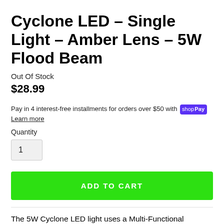Cyclone LED – Single Light – Amber Lens – 5W Flood Beam
Out Of Stock
$28.99
Pay in 4 interest-free installments for orders over $50 with shop Pay  Learn more
Quantity
1
ADD TO CART
The 5W Cyclone LED light uses a Multi-Functional